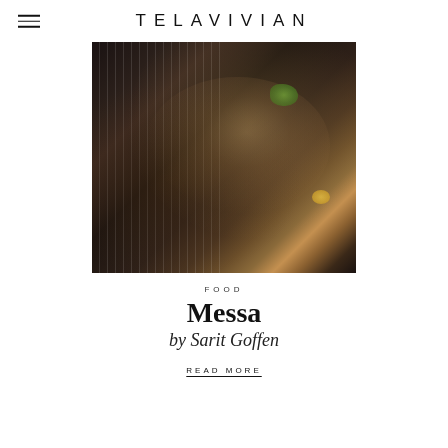TELAVIVIAN
[Figure (photo): Close-up of a chef's hands with bracelets and tattoos, plating a dish with green herbs over a bowl of food. Chef wears a black pinstripe chef's jacket.]
FOOD
Messa
by Sarit Goffen
READ MORE